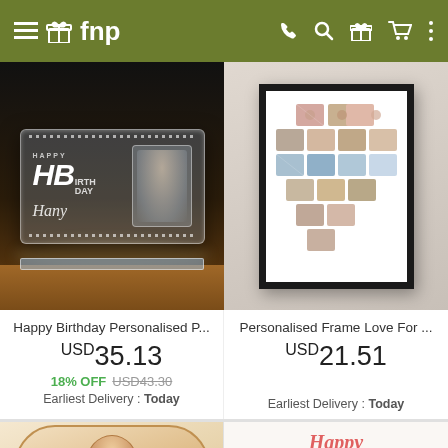fnp
[Figure (photo): Crystal engraved block with Happy Birthday text and portrait, on wooden surface]
[Figure (photo): Black framed photo collage arranged in heart shape on white background]
Happy Birthday Personalised P...
USD 35.13
18% OFF USD 43.30
Earliest Delivery : Today
Personalised Frame Love For ...
USD 21.51
Earliest Delivery : Today
[Figure (photo): Personalised cushion/pillow with person's face]
[Figure (photo): Birthday card with Happy Birthday text in red script]